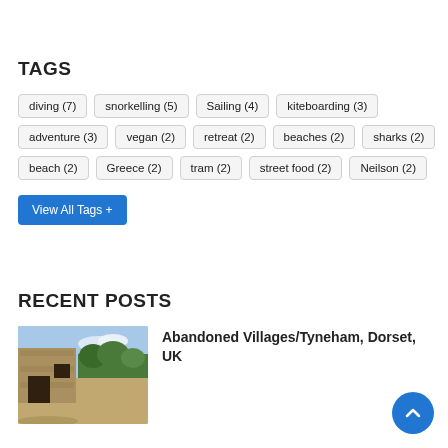TAGS
diving (7)
snorkelling (5)
Sailing (4)
kiteboarding (3)
adventure (3)
vegan (2)
retreat (2)
beaches (2)
sharks (2)
beach (2)
Greece (2)
tram (2)
street food (2)
Neilson (2)
View All Tags +
RECENT POSTS
[Figure (photo): Photo of abandoned stone building ruins with trees in background, Tyneham village, Dorset, UK]
Abandoned Villages/Tyneham, Dorset, UK